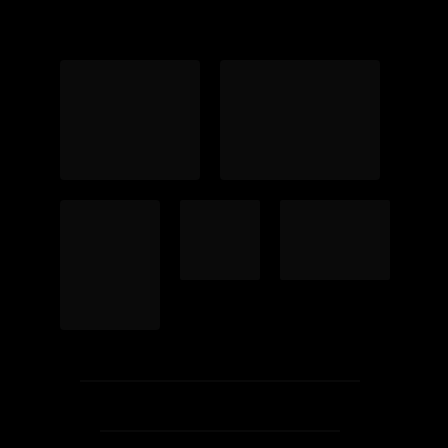[Figure (photo): A nearly entirely black image with very faint, barely visible shapes or outlines in the dark background, suggesting a dark photograph or illustration with minimal visible content.]